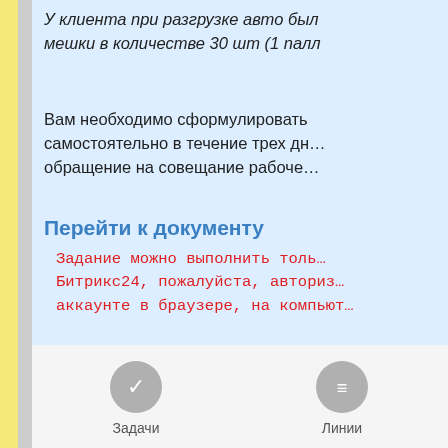У клиента при разгрузке авто был мешки в количестве 30 шт (1 палл…
Вам необходимо сформулировать самостоятельно в течение трех дн… обращение на совещание рабоче…
Перейти к документу
Задание можно выполнить толь… Битрикс24, пожалуйста, авториз… аккаунте в браузере, на компьют…
Задачи
Линии